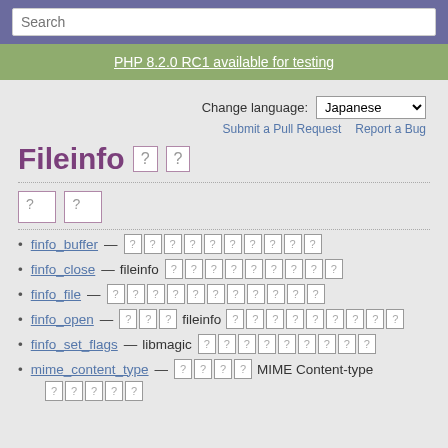Search
PHP 8.2.0 RC1 available for testing
Change language: Japanese
Submit a Pull Request  Report a Bug
Fileinfo
[Figure (other): Two question mark boxes (Japanese character placeholders)]
finfo_buffer — [Japanese characters]
finfo_close — fileinfo [Japanese characters]
finfo_file — [Japanese characters]
finfo_open — [Japanese] fileinfo [Japanese characters]
finfo_set_flags — libmagic [Japanese characters]
mime_content_type — [Japanese] MIME Content-type [Japanese characters]